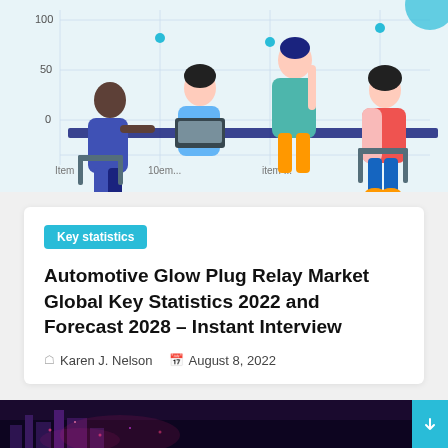[Figure (illustration): Illustrated scene of people collaborating around a table with laptops, with a partially visible chart in the background showing y-axis labels 0, 50, 100 and x-axis labels item 1, item 10, item]
Key statistics
Automotive Glow Plug Relay Market Global Key Statistics 2022 and Forecast 2028 – Instant Interview
Karen J. Nelson   August 8, 2022
[Figure (photo): Dark photo partially visible at the bottom of the page with purple/pink tones, partially obscured]